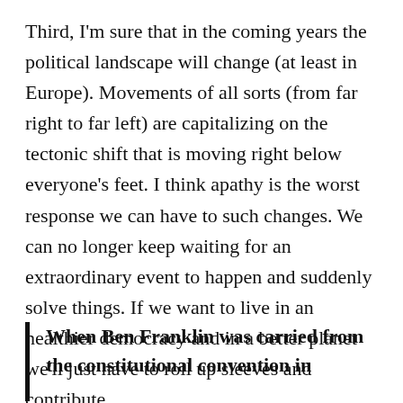Third, I'm sure that in the coming years the political landscape will change (at least in Europe). Movements of all sorts (from far right to far left) are capitalizing on the tectonic shift that is moving right below everyone's feet. I think apathy is the worst response we can have to such changes. We can no longer keep waiting for an extraordinary event to happen and suddenly solve things. If we want to live in an healthier democracy and in a better planet we'll just have to roll up sleeves and contribute.
When Ben Franklin was carried from the constitutional convention in